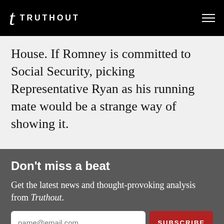TRUTHOUT
House. If Romney is committed to Social Security, picking Representative Ryan as his running mate would be a strange way of showing it.
Don't miss a beat
Get the latest news and thought-provoking analysis from Truthout.